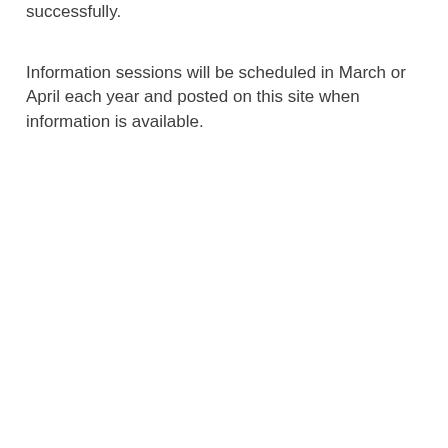successfully.
Information sessions will be scheduled in March or April each year and posted on this site when information is available.